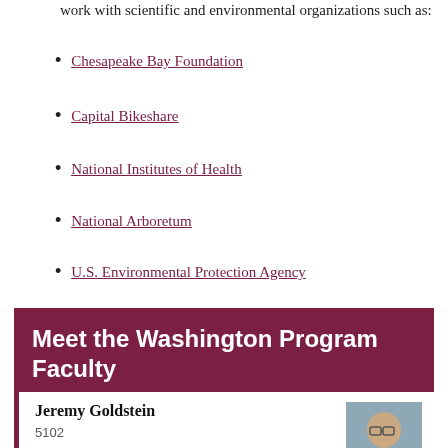work with scientific and environmental organizations such as:
Chesapeake Bay Foundation
Capital Bikeshare
National Institutes of Health
National Arboretum
U.S. Environmental Protection Agency
Meet the Washington Program Faculty
Jeremy Goldstein
5102
JLG@episcopalhighschool.org
[Figure (photo): Headshot of Jeremy Goldstein, a man with glasses wearing a dark suit and striped tie, against a blue-grey background]
Millie Smith